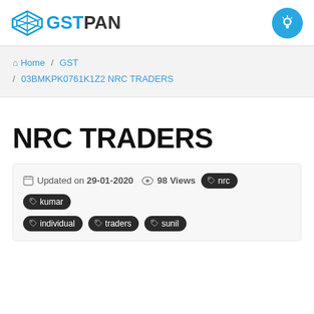GSTPAN
Home / GST / 03BMKPK0761K1Z2 NRC TRADERS
NRC TRADERS
Updated on 29-01-2020  98 Views  #nrc  #kumar  #individual  #traders  #sunil